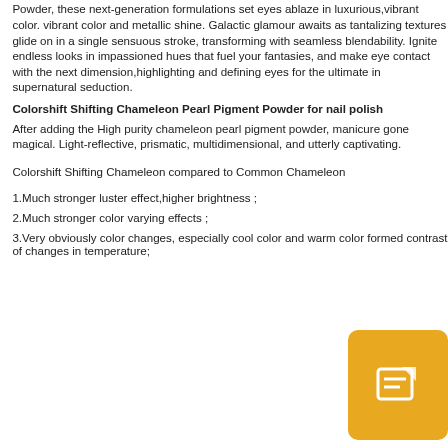Powder, these next-generation formulations set eyes ablaze in luxurious,vibrant color. vibrant color and metallic shine. Galactic glamour awaits as tantalizing textures glide on in a single sensuous stroke, transforming with seamless blendability. Ignite endless looks in impassioned hues that fuel your fantasies, and make eye contact with the next dimension,highlighting and defining eyes for the ultimate in supernatural seduction.
Colorshift Shifting Chameleon Pearl Pigment Powder for nail polish
After adding the High purity chameleon pearl pigment powder, manicure gone magical. Light-reflective, prismatic, multidimensional, and utterly captivating.
Colorshift Shifting Chameleon compared to Common Chameleon
1.Much stronger luster effect,higher brightness ;
2.Much stronger color varying effects ;
3.Very obviously color changes, especially cool color and warm color formed contrast of changes in temperature;